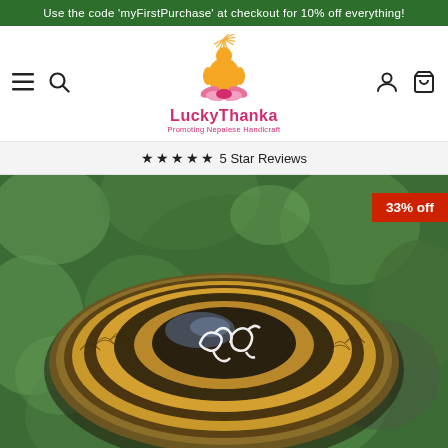Use the code 'myFirstPurchase' at checkout for 10% off everything!
[Figure (logo): LuckyThanka logo with seated Buddha figure surrounded by golden sunburst rays and lotus flowers, red and pink brand name text]
★★★★★ 5 Star Reviews
[Figure (photo): Close-up top-down view of a Tibetan singing bowl with ornate engraved patterns, gold and bronze tones, with white Auspicious symbols in the center, set on lush green foliage background]
33% off